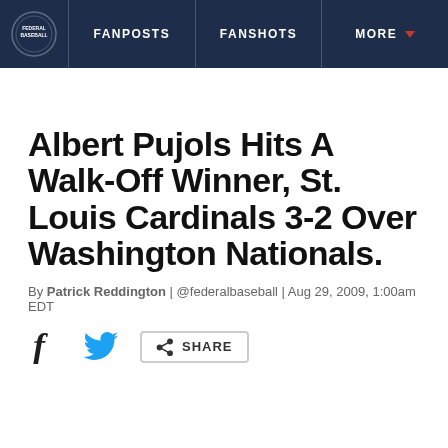FANPOSTS | FANSHOTS | MORE
Albert Pujols Hits A Walk-Off Winner, St. Louis Cardinals 3-2 Over Washington Nationals.
By Patrick Reddington | @federalbaseball | Aug 29, 2009, 1:00am EDT
[Figure (other): Social share icons: Facebook, Twitter, and Share button]